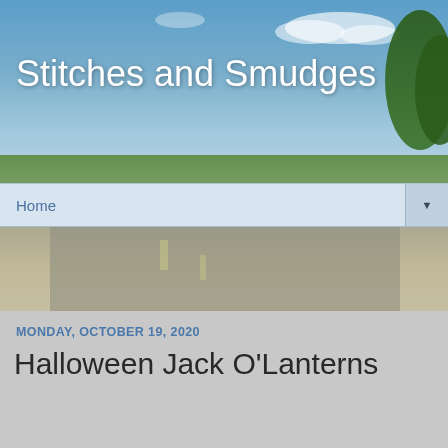[Figure (photo): Blog header banner with sky, clouds, trees, and road landscape background]
Stitches and Smudges
Home ▼
MONDAY, OCTOBER 19, 2020
Halloween Jack O'Lanterns